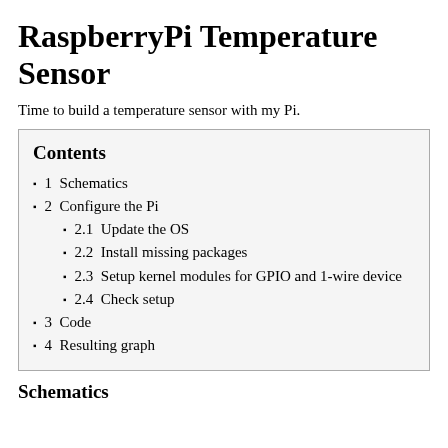RaspberryPi Temperature Sensor
Time to build a temperature sensor with my Pi.
| Contents |
| 1  Schematics |
| 2  Configure the Pi |
| 2.1  Update the OS |
| 2.2  Install missing packages |
| 2.3  Setup kernel modules for GPIO and 1-wire device |
| 2.4  Check setup |
| 3  Code |
| 4  Resulting graph |
Schematics